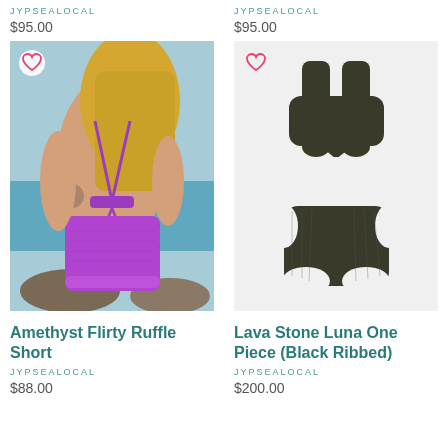JYPSEALOCAL
$95.00
JYPSEALOCAL
$95.00
[Figure (photo): Woman from behind wearing a purple bikini top with tassel ties and purple ruffle shorts, standing on a beach]
[Figure (photo): Dark olive/black ribbed one-piece swimsuit with cutout design, shown flat on white background]
Amethyst Flirty Ruffle Short
Lava Stone Luna One Piece (Black Ribbed)
JYPSEALOCAL
JYPSEALOCAL
$88.00
$200.00